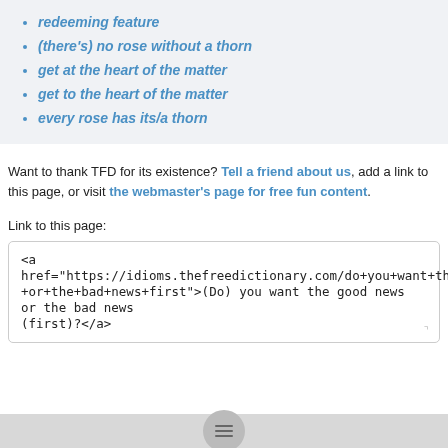redeeming feature
(there's) no rose without a thorn
get at the heart of the matter
get to the heart of the matter
every rose has its/a thorn
Want to thank TFD for its existence? Tell a friend about us, add a link to this page, or visit the webmaster's page for free fun content.
Link to this page:
<a href="https://idioms.thefreedictionary.com/do+you+want+the+good+news+or+the+bad+news+first">(Do) you want the good news or the bad news (first)?</a>